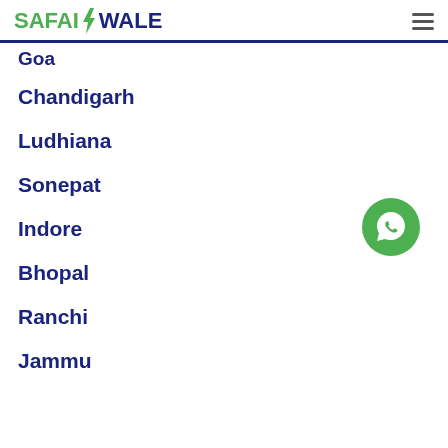SAFAIWALE
Goa
Chandigarh
Ludhiana
Sonepat
Indore
Bhopal
Ranchi
Jammu